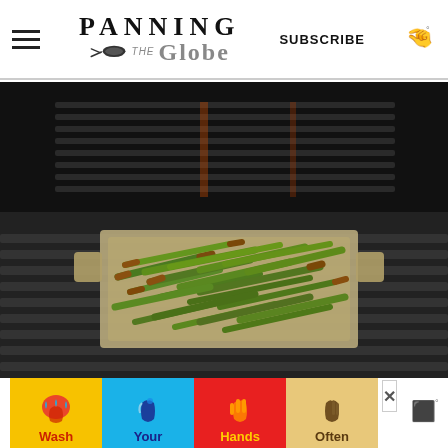PANNING THE Globe | SUBSCRIBE
[Figure (photo): Green beans (haricots verts) in a metal grill basket on a gas barbecue grill, with the lid open revealing the grill grates above.]
[Figure (infographic): Advertisement banner: 'Wash Your Hands Often' with hand-washing illustrations on colored backgrounds (yellow, blue, red, tan). An X close button is visible.]